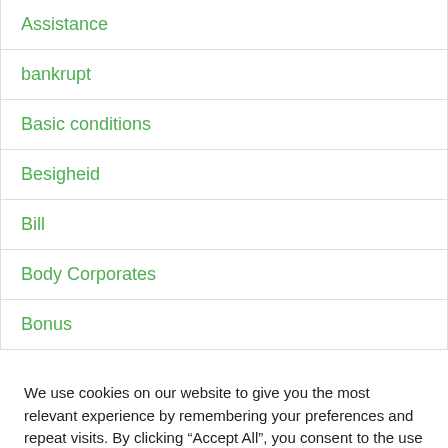Assistance
bankrupt
Basic conditions
Besigheid
Bill
Body Corporates
Bonus
We use cookies on our website to give you the most relevant experience by remembering your preferences and repeat visits. By clicking “Accept All”, you consent to the use of ALL the cookies. However, you may visit "Cookie Settings" to provide a controlled consent.